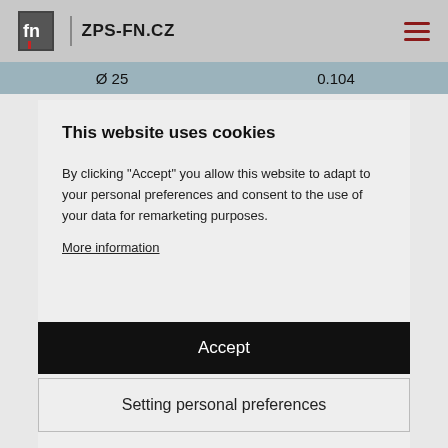ZPS-FN.CZ
| Ø 25 | 0.104 |
This website uses cookies
By clicking "Accept" you allow this website to adapt to your personal preferences and consent to the use of your data for remarketing purposes.
More information
Accept
Setting personal preferences